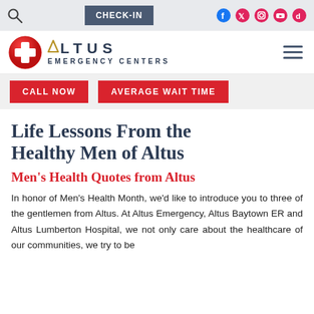CHECK-IN | Social icons: Facebook, Twitter, Instagram, YouTube, TikTok
[Figure (logo): Altus Emergency Centers logo with red cross icon and stylized A mark]
CALL NOW | AVERAGE WAIT TIME
Life Lessons From the Healthy Men of Altus
Men's Health Quotes from Altus
In honor of Men's Health Month, we'd like to introduce you to three of the gentlemen from Altus. At Altus Emergency, Altus Baytown ER and Altus Lumberton Hospital, we not only care about the healthcare of our communities, we try to be...